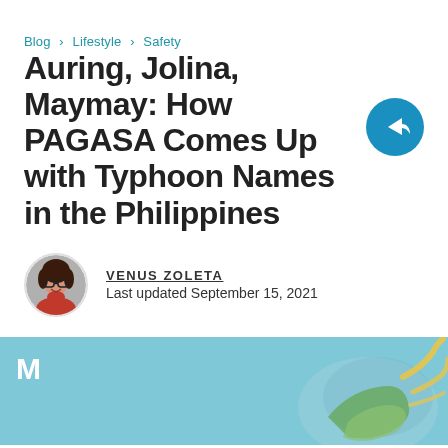Blog > Lifestyle > Safety
Auring, Jolina, Maymay: How PAGASA Comes Up with Typhoon Names in the Philippines
VENUS ZOLETA
Last updated September 15, 2021
[Figure (photo): Light blue banner at bottom with Moneymax M logo and typhoon satellite image on the right side]